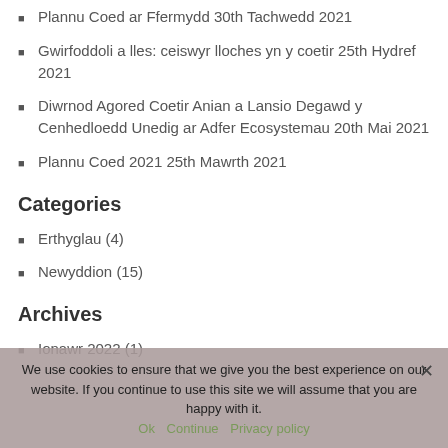Plannu Coed ar Ffermydd 30th Tachwedd 2021
Gwirfoddoli a lles: ceiswyr lloches yn y coetir 25th Hydref 2021
Diwrnod Agored Coetir Anian a Lansio Degawd y Cenhedloedd Unedig ar Adfer Ecosystemau 20th Mai 2021
Plannu Coed 2021 25th Mawrth 2021
Categories
Erthyglau (4)
Newyddion (15)
Archives
Ionawr 2022 (1)
We use cookies to ensure that we give you the best experience on our website. If you continue to use this site we will assume that you are happy with it.